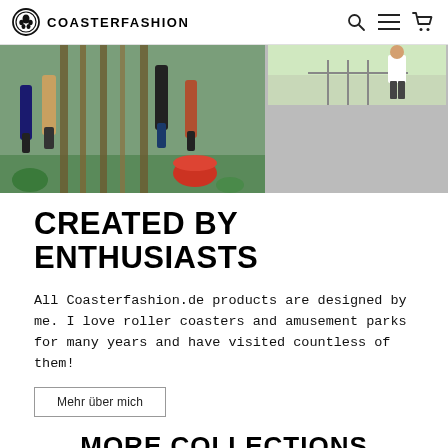COASTERFASHION
[Figure (photo): Hero image showing people at an amusement park, split into two panels: left panel shows roller coaster riders from above/behind, right panel shows a person outdoors]
CREATED BY ENTHUSIASTS
All Coasterfashion.de products are designed by me. I love roller coasters and amusement parks for many years and have visited countless of them!
Mehr über mich
MORE COLLECTIONS
[Figure (photo): Two product/model photos side by side at bottom: left shows a woman with red hair on teal background, right shows a man on blue background]